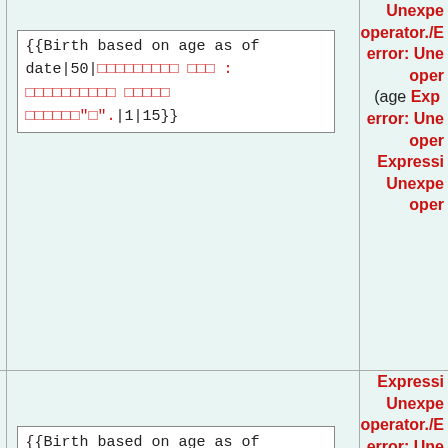|  | Template code | Error output |
| --- | --- | --- |
|  | {{Birth based on age as of date|50|□□□□□□□□□ □□□ : □□□□□□□□□□ □□□□□ □□□□□□"□".|1|15}} | Expression error: Unexpected operator./Expression error: Unexpected operator./Expression error: Unexpected operator.
(age Expression error: Unexpected operator.
Expression error: Unexpected operator.
Expression error: Unexpected operator.
Expression error: Unexpected operator.
Expression Unexpected operator |
|  | {{Birth based on age as of | Expression Unexpected operator./Expression error: Unexpected operator./Expression error: Unexpected operator |